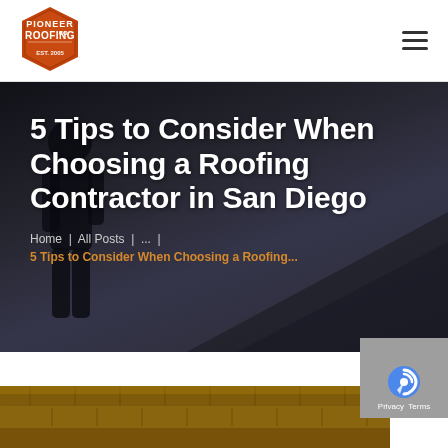[Figure (logo): Pioneer Roofing Co logo — orange/brown hexagonal badge with white text]
[Figure (other): Hamburger menu icon (three horizontal lines)]
[Figure (photo): Dark hero background photo showing silhouette of roofer working on roof against grey sky]
5 Tips to Consider When Choosing a Roofing Contractor in San Diego
Home | All Posts | ... | 5 Tips to Consider When Choosing a Roofing... (breadcrumb navigation)
[Figure (photo): Close-up photo of roofing tiles/shingles visible at bottom of page]
[Figure (other): Google reCAPTCHA / GDPR badge in bottom right corner]